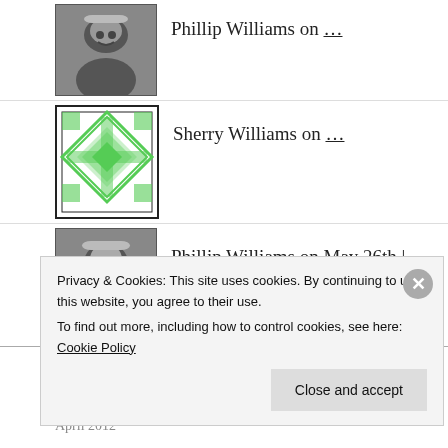Phillip Williams on …
Sherry Williams on …
Phillip Williams on May 26th | 2012
ARCHIVES
Privacy & Cookies: This site uses cookies. By continuing to use this website, you agree to their use. To find out more, including how to control cookies, see here: Cookie Policy
Close and accept